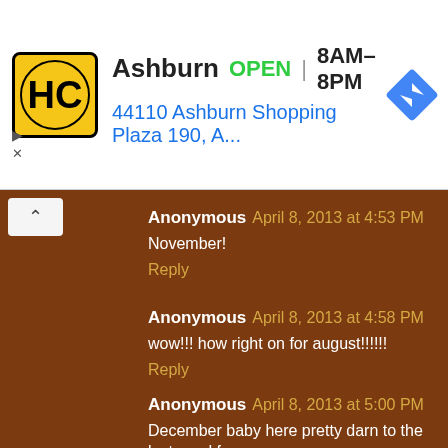[Figure (infographic): Advertisement banner for HC (Hardee's/similar) store in Ashburn. Shows yellow/black logo, store name 'Ashburn', OPEN status, hours '8AM-8PM', address '44110 Ashburn Shopping Plaza 190, A...', and a blue navigation diamond icon. Has arrow and X controls on the left side.]
Anonymous April 8, 2013 at 4:53 PM
November!
Reply
Anonymous April 8, 2013 at 4:58 PM
wow!!! how right on for august!!!!!!
Reply
Anonymous April 8, 2013 at 5:00 PM
December baby here pretty darn to the last word for me
Reply